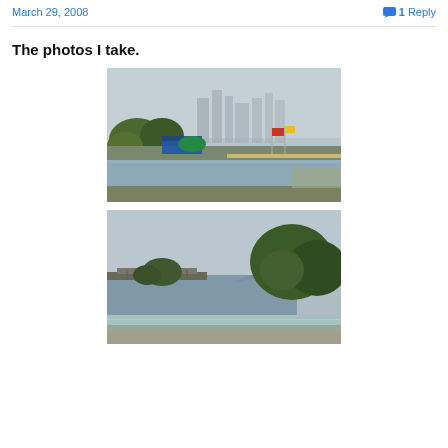March 29, 2008   1 Reply
The photos I take.
[Figure (photo): Outdoor waterfront scene with trees, a canal or river, colorful tents or structures, flags, and a misty city skyline in the background under overcast skies.]
[Figure (photo): Elevated view of a railway or bridge structure beside a body of water, with a large tree in the foreground right and an overcast sky. A glass railing is visible at the bottom of the frame.]